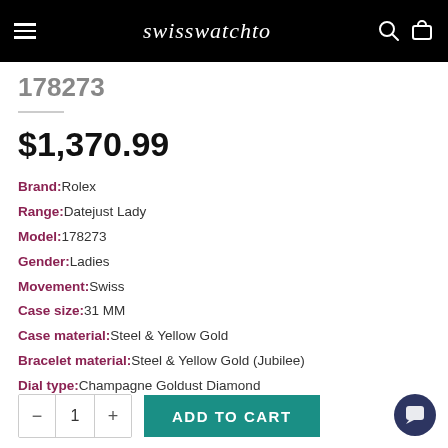swisswatchto
178273
$1,370.99
Brand:Rolex
Range:Datejust Lady
Model:178273
Gender:Ladies
Movement:Swiss
Case size:31 MM
Case material:Steel & Yellow Gold
Bracelet material:Steel & Yellow Gold (Jubilee)
Dial type:Champagne Goldust Diamond
- 1 + ADD TO CART